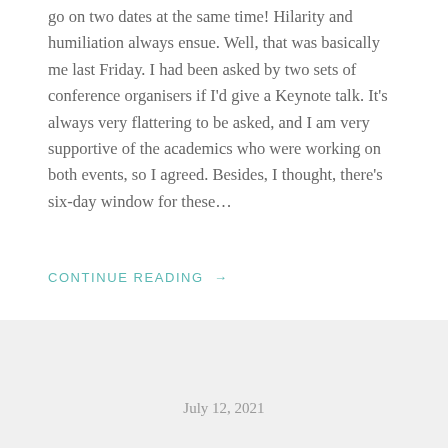go on two dates at the same time! Hilarity and humiliation always ensue. Well, that was basically me last Friday. I had been asked by two sets of conference organisers if I'd give a Keynote talk. It's always very flattering to be asked, and I am very supportive of the academics who were working on both events, so I agreed. Besides, I thought, there's six-day window for these…
CONTINUE READING →
July 12, 2021